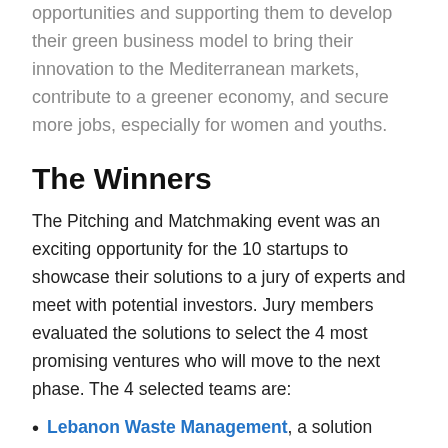opportunities and supporting them to develop their green business model to bring their innovation to the Mediterranean markets, contribute to a greener economy, and secure more jobs, especially for women and youths.
The Winners
The Pitching and Matchmaking event was an exciting opportunity for the 10 startups to showcase their solutions to a jury of experts and meet with potential investors. Jury members evaluated the solutions to select the 4 most promising ventures who will move to the next phase. The 4 selected teams are:
Lebanon Waste Management, a solution tackling the recycling of plastic and sand glass